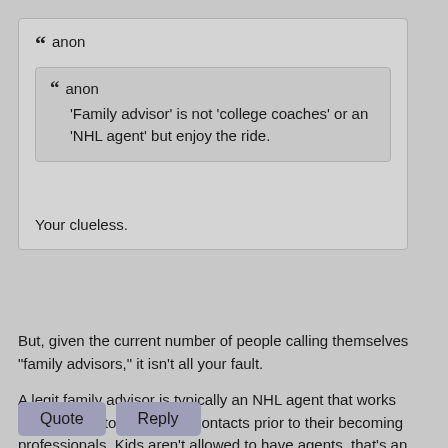anon (outer quote author)
anon (inner quote author): 'Family advisor' is not 'college coaches' or an 'NHL agent' but enjoy the ride.
Your clueless.
But, given the current number of people calling themselves "family advisors," it isn't all your fault.
A legit family advisor is typically an NHL agent that works with families to help make contacts prior to their becoming professionals. Kids aren't allowed to have agents, that's an NCAA violation, so they are called family advisors. The relationship usually starts around 8th grade or so.
Quote | Reply